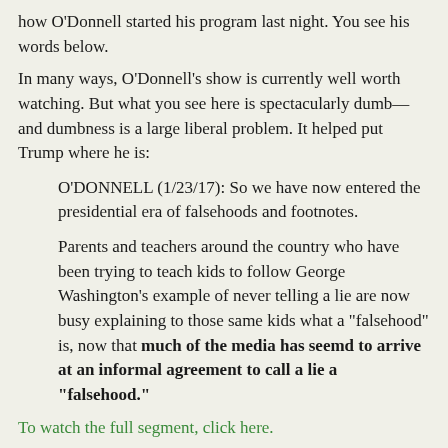how O'Donnell started his program last night. You see his words below.
In many ways, O'Donnell's show is currently well worth watching. But what you see here is spectacularly dumb—and dumbness is a large liberal problem. It helped put Trump where he is:
O'DONNELL (1/23/17): So we have now entered the presidential era of falsehoods and footnotes.
Parents and teachers around the country who have been trying to teach kids to follow George Washington's example of never telling a lie are now busy explaining to those same kids what a "falsehood" is, now that much of the media has seemd to arrive at an informal agreement to call a lie a "falsehood."
To watch the full segment, click here.
In many ways, O'Donnell's show is well worth watching. He frequently offers well reasoned discussions. His viewers aren't